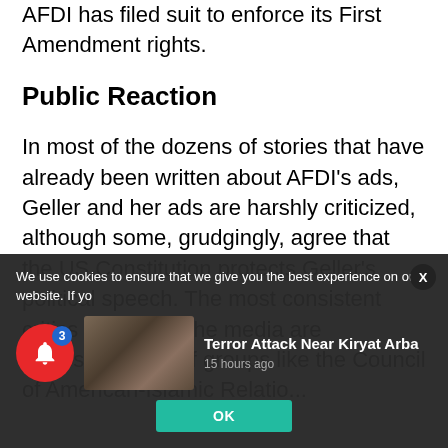AFDI has filed suit to enforce its First Amendment rights.
Public Reaction
In most of the dozens of stories that have already been written about AFDI's ads, Geller and her ads are harshly criticized, although some, grudgingly, agree that the US Constitution protects Geller's political speech. The most consistent critics quoted by the media are representatives of groups like the Council of American-Islamic Relations
We use cookies to ensure that we give you the best experience on our website. If yo
[Figure (photo): Thumbnail image of a soldier or military person for a news article about a Terror Attack Near Kiryat Arba]
Terror Attack Near Kiryat Arba
15 hours ago